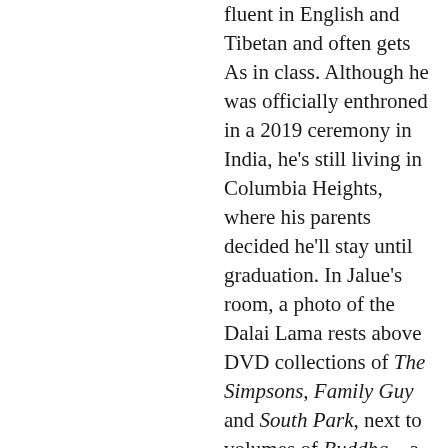fluent in English and Tibetan and often gets As in class. Although he was officially enthroned in a 2019 ceremony in India, he's still living in Columbia Heights, where his parents decided he'll stay until graduation. In Jalue's room, a photo of the Dalai Lama rests above DVD collections of The Simpsons, Family Guy and South Park, next to volumes of Buddha—a graphic novel series by Osamu Tezuka, a master of Japanese manga. Would it